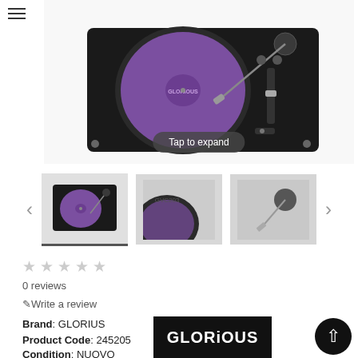[Figure (photo): Main product image: black DJ turntable with purple/violet vinyl mat, viewed from above-front angle on white background. 'Tap to expand' overlay button visible.]
[Figure (photo): Thumbnail 1 (active/selected): Small overhead view of black turntable with purple mat, tonearm visible]
[Figure (photo): Thumbnail 2: Close-up side/front view of black turntable platter area]
[Figure (photo): Thumbnail 3: Close-up of turntable tonearm and cartridge area]
0 reviews
Write a review
Brand: GLORIUS
Product Code: 245205
Condition: NUOVO
[Figure (logo): GLORiOUS brand logo — white text on black rectangular background]